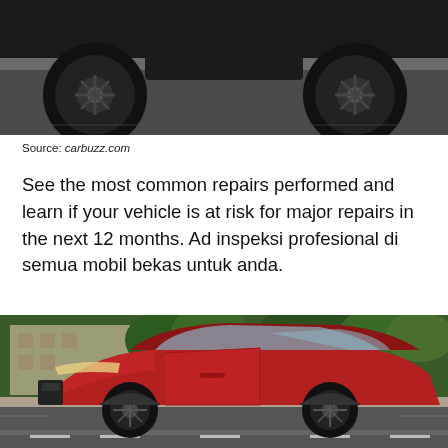[Figure (photo): Close-up of the underside and wheels of a dark-colored car on a road — partial view showing tires and chassis from below.]
Source: carbuzz.com
See the most common repairs performed and learn if your vehicle is at risk for major repairs in the next 12 months. Ad inspeksi profesional di semua mobil bekas untuk anda.
[Figure (photo): A red Hyundai Tucson SUV driving on a road with trees and a building visible in the background.]